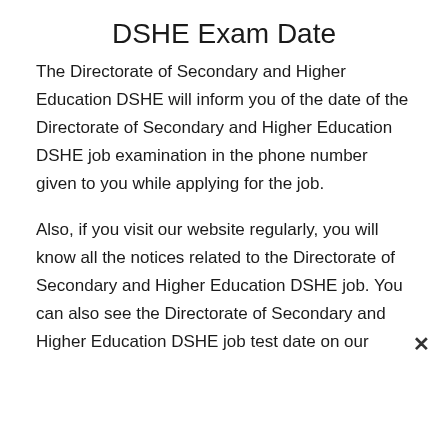DSHE Exam Date
The Directorate of Secondary and Higher Education DSHE will inform you of the date of the Directorate of Secondary and Higher Education DSHE job examination in the phone number given to you while applying for the job.
Also, if you visit our website regularly, you will know all the notices related to the Directorate of Secondary and Higher Education DSHE job. You can also see the Directorate of Secondary and Higher Education DSHE job test date on our